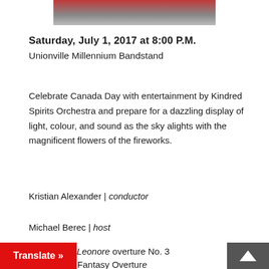[Figure (photo): Partial image at top, showing red and grey tones, cropped from a larger concert or performance photo]
Saturday, July 1, 2017 at 8:00 P.M.
Unionville Millennium Bandstand
Celebrate Canada Day with entertainment by Kindred Spirits Orchestra and prepare for a dazzling display of light, colour, and sound as the sky alights with the magnificent flowers of the fireworks.
Kristian Alexander | conductor
Michael Berec | host
Beethoven, Leonore overture No. 3
[...] mpest, Fantasy Overture
[...] overture, Op. 81